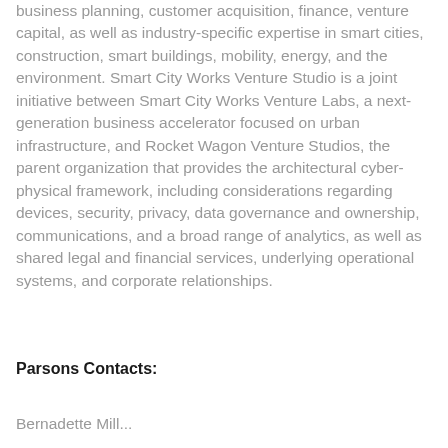business planning, customer acquisition, finance, venture capital, as well as industry-specific expertise in smart cities, construction, smart buildings, mobility, energy, and the environment. Smart City Works Venture Studio is a joint initiative between Smart City Works Venture Labs, a next-generation business accelerator focused on urban infrastructure, and Rocket Wagon Venture Studios, the parent organization that provides the architectural cyber-physical framework, including considerations regarding devices, security, privacy, data governance and ownership, communications, and a broad range of analytics, as well as shared legal and financial services, underlying operational systems, and corporate relationships.
Parsons Contacts:
Bernadette Mill...